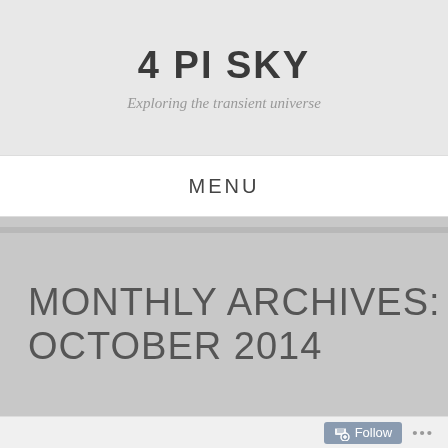4 PI SKY
Exploring the transient universe
MENU
MONTHLY ARCHIVES: OCTOBER 2014
Follow ...